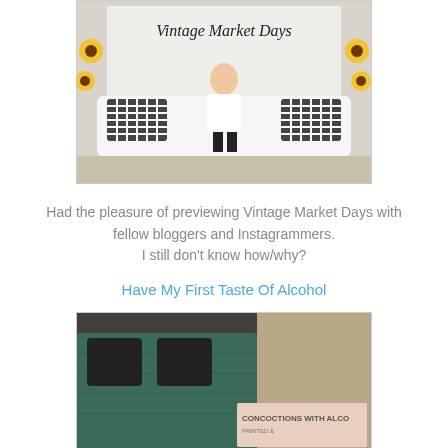[Figure (photo): Woman sitting on a white-covered sofa with black and white buffalo check pillows, posed in front of a macrame backdrop with calligraphy text 'Vintage Market Days' and sunflower decorations]
Had the pleasure of previewing Vintage Market Days with fellow bloggers and Instagrammers. I still don't know how/why?
Have My First Taste Of Alcohol
[Figure (photo): Close-up photo of dark green/teal painted wooden surface with text 'CONCOCTIONS WITH ALCO' visible on a label in the lower right corner]